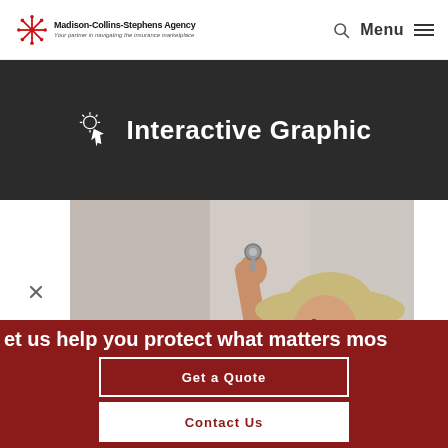Madison-Collins-Stephens Agency | Your partner in navigating the insurance marketplace | Menu
Interactive Graphic
[Figure (photo): Woman wearing a straw hat holding up keys, photographed from below against a blurred indoor background]
Let us help you protect what matters most
Get a Quote
Contact Us